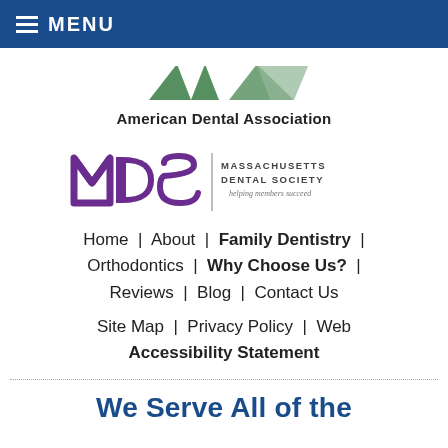MENU
[Figure (logo): American Dental Association (ADA) logo with green stylized letters and text 'American Dental Association']
[Figure (logo): Massachusetts Dental Society (MDS) logo with purple MDS letters and text 'MASSACHUSETTS DENTAL SOCIETY helping members succeed']
Home | About | Family Dentistry | Orthodontics | Why Choose Us? | Reviews | Blog | Contact Us
Site Map | Privacy Policy | Web Accessibility Statement
We Serve All of the